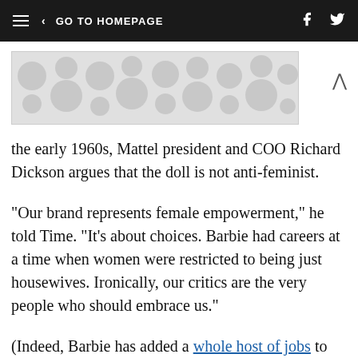≡  < GO TO HOMEPAGE
[Figure (other): Advertisement banner with decorative circle/dot pattern in light gray]
the early 1960s, Mattel president and COO Richard Dickson argues that the doll is not anti-feminist.
"Our brand represents female empowerment," he told Time. "It's about choices. Barbie had careers at a time when women were restricted to being just housewives. Ironically, our critics are the very people who should embrace us."
(Indeed, Barbie has added a whole host of jobs to her resume over the years, including space